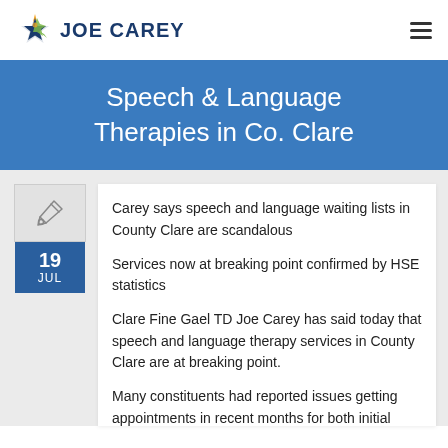JOE CAREY
Speech & Language Therapies in Co. Clare
Carey says speech and language waiting lists in County Clare are scandalous
Services now at breaking point confirmed by HSE statistics
Clare Fine Gael TD Joe Carey has said today that speech and language therapy services in County Clare are at breaking point.
Many constituents had reported issues getting appointments in recent months for both initial